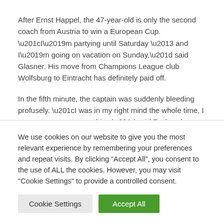After Ernst Happel, the 47-year-old is only the second coach from Austria to win a European Cup. “I’m partying until Saturday – and I’m going on vacation on Sunday,” said Glasner. His move from Champions League club Wolfsburg to Eintracht has definitely paid off.
In the fifth minute, the captain was suddenly bleeding profusely. “I was in my right mind the whole time, I was never gone or anything,” said Rode, who was hit in the head after a
We use cookies on our website to give you the most relevant experience by remembering your preferences and repeat visits. By clicking “Accept All”, you consent to the use of ALL the cookies. However, you may visit "Cookie Settings" to provide a controlled consent.